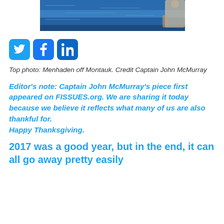[Figure (photo): Partial photo of a person on a boat with blue ocean water in the background. Cropped at top of page.]
[Figure (infographic): Social media share buttons: Twitter (blue bird icon), Facebook (blue f icon), LinkedIn (blue in icon)]
Top photo: Menhaden off Montauk. Credit Captain John McMurray
Editor's note: Captain John McMurray's piece first appeared on FISSUES.org. We are sharing it today because we believe it reflects what many of us are also thankful for. Happy Thanksgiving.
2017 was a good year, but in the end, it can all go away pretty easily